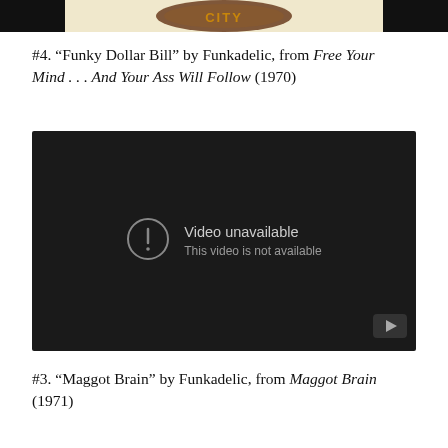[Figure (screenshot): Top portion of a partially visible album artwork or logo image cropped at the top of the page, dark background with brown/tan circular logo.]
#4. “Funky Dollar Bill” by Funkadelic, from Free Your Mind . . . And Your Ass Will Follow (1970)
[Figure (screenshot): Embedded YouTube video player showing a dark/black screen with a circle exclamation icon and the message 'Video unavailable / This video is not available', with a YouTube play button icon in the bottom-right corner.]
#3. “Maggot Brain” by Funkadelic, from Maggot Brain (1971)